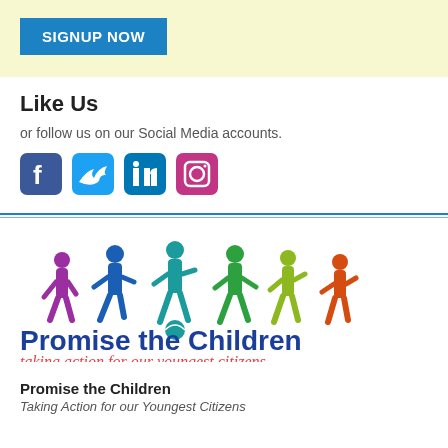[Figure (other): Blue SIGNUP NOW button on light yellow background banner]
Like Us
or follow us on our Social Media accounts.
[Figure (other): Social media icons: Facebook, Twitter, LinkedIn, Instagram]
[Figure (logo): Promise the Children logo with colorful silhouettes of children playing. Text: Promise the Children, taking action for our youngest citizens]
Promise the Children
Taking Action for our Youngest Citizens